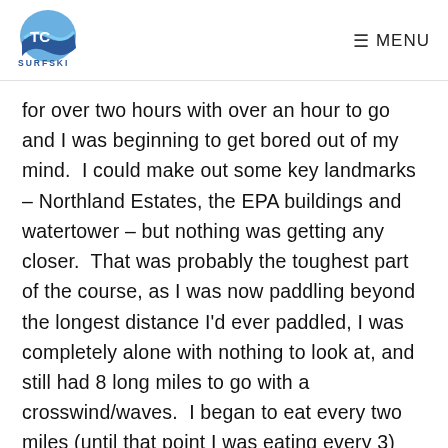TC SURFSKI | MENU
for over two hours with over an hour to go and I was beginning to get bored out of my mind.  I could make out some key landmarks – Northland Estates, the EPA buildings and watertower – but nothing was getting any closer.  That was probably the toughest part of the course, as I was now paddling beyond the longest distance I'd ever paddled, I was completely alone with nothing to look at, and still had 8 long miles to go with a crosswind/waves.  I began to eat every two miles (until that point I was eating every 3)